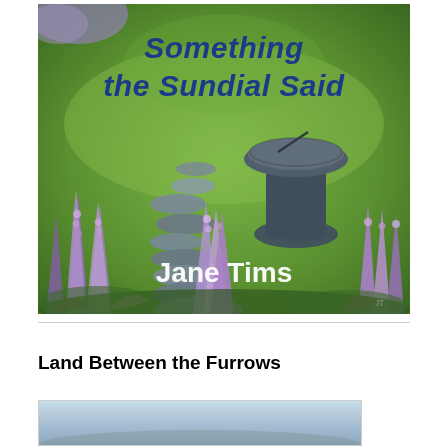[Figure (illustration): Book cover for 'Something the Sundial Said' by Jane Tims. Painted illustration showing a garden scene with purple lupins, stepping stones, and a dark stone sundial in the center-right. Green grass background. Title text in bold dark blue italic at top, author name in white bold at bottom.]
Land Between the Furrows
[Figure (photo): Partial image visible at bottom of page, appears to be a landscape or outdoor scene with blue-grey tones.]